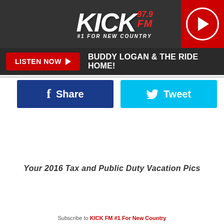KICK 97.9 FM #1 FOR NEW COUNTRY
LISTEN NOW  BUDDY LOGAN & THE RIDE HOME!
Share
Tweet
Your 2016 Tax and Public Duty Vacation Pics
Subscribe to KICK FM #1 For New Country